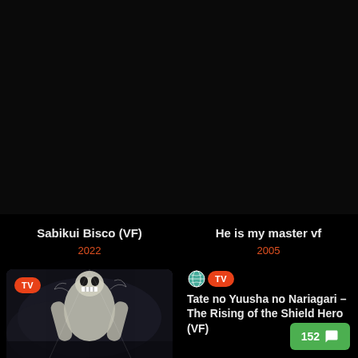[Figure (screenshot): Dark/black image area top-left, anime thumbnail]
Sabikui Bisco (VF)
2022
[Figure (screenshot): Dark/black image area top-right, anime thumbnail]
He is my master vf
2005
[Figure (photo): Anime scene showing a large titan-like creature with white/light coloring against dark background, TV badge overlay]
[Figure (screenshot): Globe icon and TV badge next to Rising of the Shield Hero title]
Tate no Yuusha no Nariagari – The Rising of the Shield Hero (VF)
152